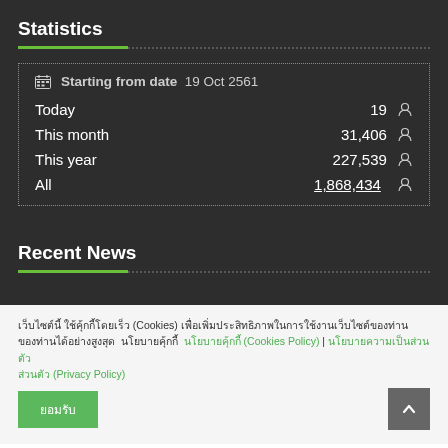Statistics
|  |  |
| --- | --- |
| Starting from date | 19 Oct 2561 |
| Today | 19 |
| This month | 31,406 |
| This year | 227,539 |
| All | 1,868,434 |
Recent News
เว็บไซต์นี้ ใช้คุ้กกี้โดยเร็ว (Cookies) เพื่อเพิ่มประสิทธิภาพในการใช้งานเว็บไซต์ของท่าน นโยบายคุ้กกี้ (Cookies Policy) | นโยบายความเป็นส่วนตัว (Privacy Policy)
ยอมรับ